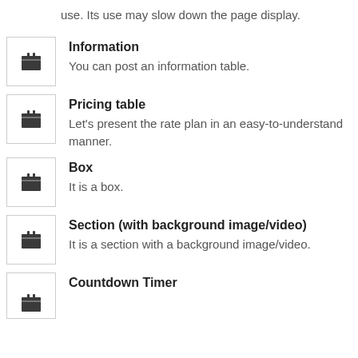use. Its use may slow down the page display.
Information — You can post an information table.
Pricing table — Let's present the rate plan in an easy-to-understand manner.
Box — It is a box.
Section (with background image/video) — It is a section with a background image/video.
Countdown Timer